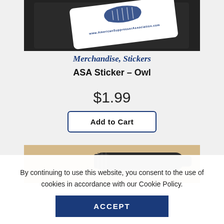[Figure (photo): Product photo of an ASA Owl sticker on a dark case/wallet with american suppressor association website text visible]
Merchandise, Stickers
ASA Sticker – Owl
$1.99
Add to Cart
[Figure (photo): Partial product photo showing a black suppressor on a wooden surface]
By continuing to use this website, you consent to the use of cookies in accordance with our Cookie Policy.
ACCEPT